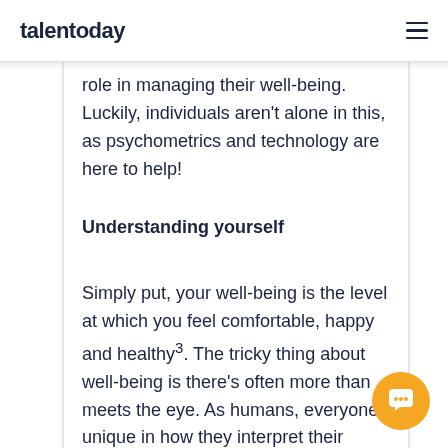talentoday
role in managing their well-being. Luckily, individuals aren't alone in this, as psychometrics and technology are here to help!
Understanding yourself
Simply put, your well-being is the level at which you feel comfortable, happy and healthy³. The tricky thing about well-being is there's often more than meets the eye. As humans, everyone is unique in how they interpret their